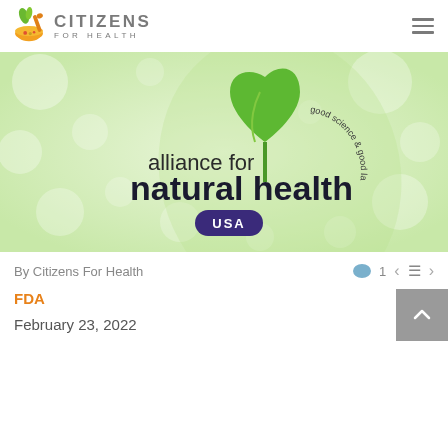CITIZENS FOR HEALTH
[Figure (logo): Alliance for Natural Health USA logo with green heart leaf shape and text 'good science & good law', 'alliance for natural health', 'USA' on bokeh green background]
By Citizens For Health
FDA
February 23, 2022